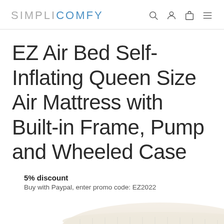SIMPLICOMFY
EZ Air Bed Self-Inflating Queen Size Air Mattress with Built-in Frame, Pump and Wheeled Case
5% discount
Buy with Paypal, enter promo code: EZ2022
[Figure (photo): Partial view of an air mattress product in white/beige color at the bottom of the page]